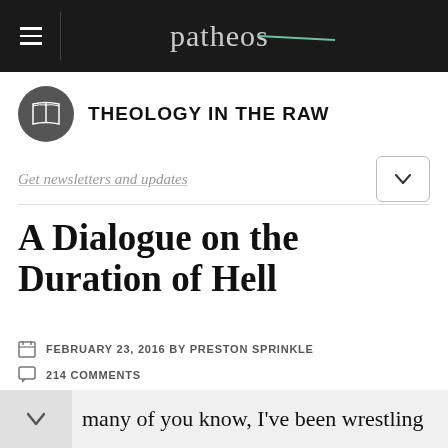Patheos
THEOLOGY IN THE RAW
Get newsletters and updates
A Dialogue on the Duration of Hell
FEBRUARY 23, 2016 BY PRESTON SPRINKLE
214 COMMENTS
many of you know, I've been wrestling